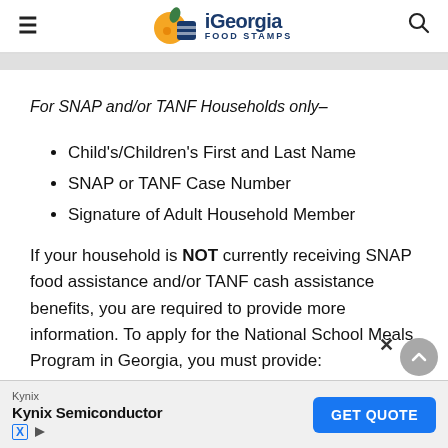iGeorgia FOOD STAMPS
For SNAP and/or TANF Households only–
Child's/Children's First and Last Name
SNAP or TANF Case Number
Signature of Adult Household Member
If your household is NOT currently receiving SNAP food assistance and/or TANF cash assistance benefits, you are required to provide more information. To apply for the National School Meals Program in Georgia, you must provide: